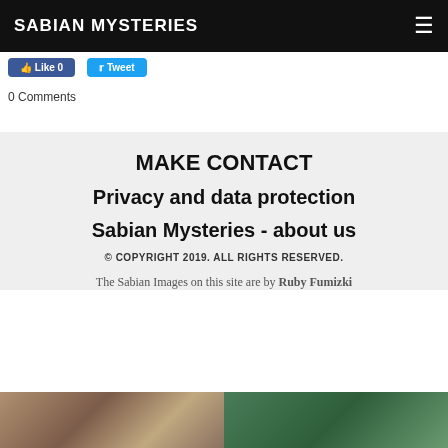SABIAN MYSTERIES
[Figure (screenshot): Social media buttons: Like 0 (Facebook blue) and Tweet (Twitter blue)]
0 Comments
MAKE CONTACT
Privacy and data protection
Sabian Mysteries - about us
© COPYRIGHT 2019. ALL RIGHTS RESERVED.
The Sabian Images on this site are by Ruby Fumizki
[Figure (photo): Two partial thumbnail images at the bottom of the page]